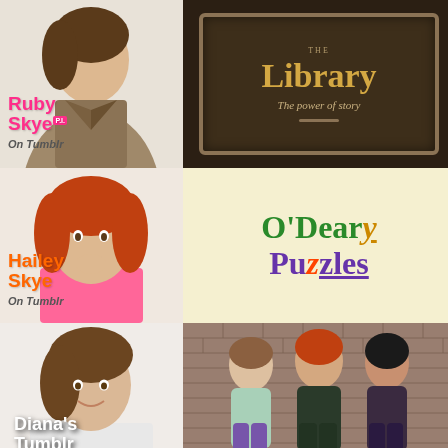[Figure (photo): Ruby Skye P.I. on Tumblr — girl in trench coat with pink text overlay]
[Figure (logo): Library — The power of story — dark wooden sign style logo]
[Figure (photo): Hailey Skye on Tumblr — red-haired girl with orange text overlay]
[Figure (logo): O'Deary Puzzles logo in green and purple with stylized letters]
[Figure (photo): Diana's Tumblr — girl with brown hair, white text overlay]
[Figure (photo): The Stunt Chik Girls — three girls against brick wall]
[Figure (logo): Because I am a Girl — pink background with large white text]
[Figure (logo): FONK — Friends of Needy Kids — black background with white text]